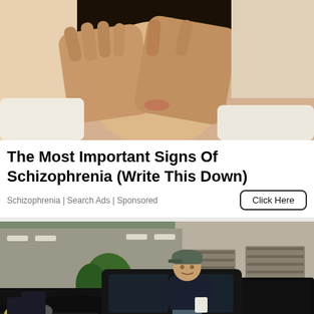[Figure (photo): Person with dark hair covering their face with both hands, wearing a light cream/white sweater. Close-up photo showing distress or anxiety.]
The Most Important Signs Of Schizophrenia (Write This Down)
Schizophrenia | Search Ads | Sponsored
[Figure (photo): Man in a baseball cap and dark shirt standing next to a black pickup truck (Ram 1500) in a parking lot. Commercial/industrial building with garage doors visible in the background.]